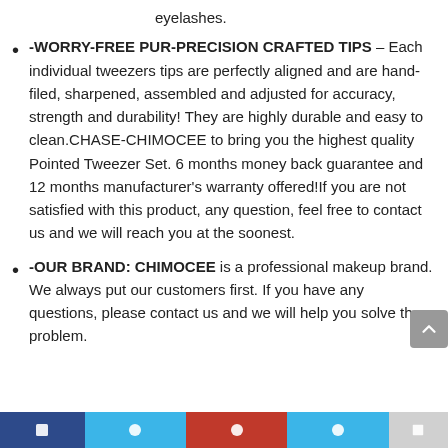eyelashes.
-WORRY-FREE PUR-PRECISION CRAFTED TIPS – Each individual tweezers tips are perfectly aligned and are hand-filed, sharpened, assembled and adjusted for accuracy, strength and durability! They are highly durable and easy to clean.CHASE-CHIMOCEE to bring you the highest quality Pointed Tweezer Set. 6 months money back guarantee and 12 months manufacturer's warranty offered!If you are not satisfied with this product, any question, feel free to contact us and we will reach you at the soonest.
-OUR BRAND: CHIMOCEE is a professional makeup brand. We always put our customers first. If you have any questions, please contact us and we will help you solve the problem.